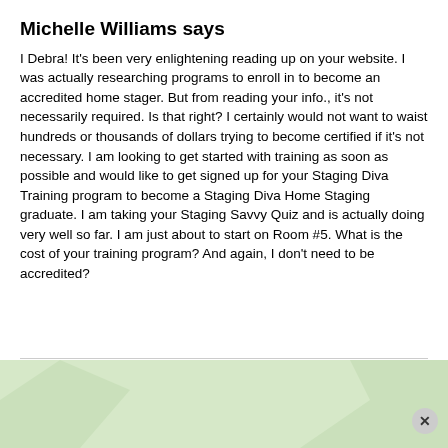Michelle Williams says
I Debra! It's been very enlightening reading up on your website. I was actually researching programs to enroll in to become an accredited home stager. But from reading your info., it's not necessarily required. Is that right? I certainly would not want to waist hundreds or thousands of dollars trying to become certified if it's not necessary. I am looking to get started with training as soon as possible and would like to get signed up for your Staging Diva Training program to become a Staging Diva Home Staging graduate. I am taking your Staging Savvy Quiz and is actually doing very well so far. I am just about to start on Room #5. What is the cost of your training program? And again, I don't need to be accredited?
[Figure (infographic): Promotional banner with green background showing 'Do You Have the Eye of a Stager?' in green text and a blue rounded button 'Take Our Staging Quiz!']